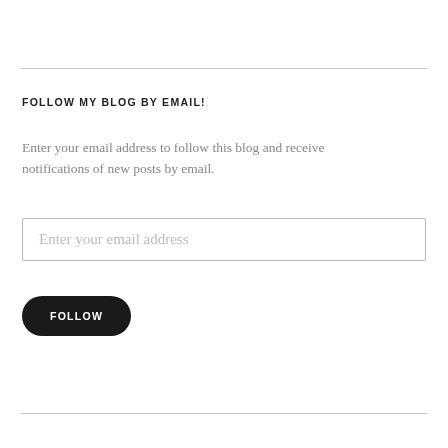FOLLOW MY BLOG BY EMAIL!
Enter your email address to follow this blog and receive notifications of new posts by email.
[Figure (other): Email input field with placeholder text 'Enter your email address']
[Figure (other): Black rounded button labeled 'FOLLOW']